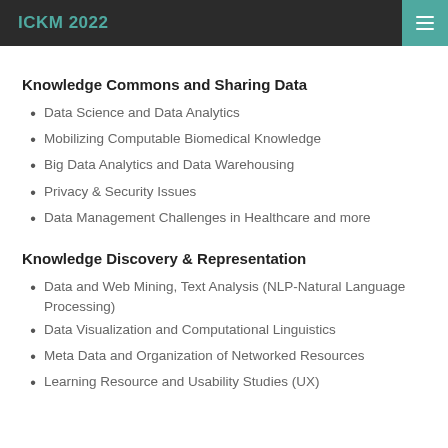ICKM 2022
Knowledge Commons and Sharing Data
Data Science and Data Analytics
Mobilizing Computable Biomedical Knowledge
Big Data Analytics and Data Warehousing
Privacy & Security Issues
Data Management Challenges in Healthcare and more
Knowledge Discovery & Representation
Data and Web Mining, Text Analysis (NLP-Natural Language Processing)
Data Visualization and Computational Linguistics
Meta Data and Organization of Networked Resources
Learning Resource and Usability Studies (UX)